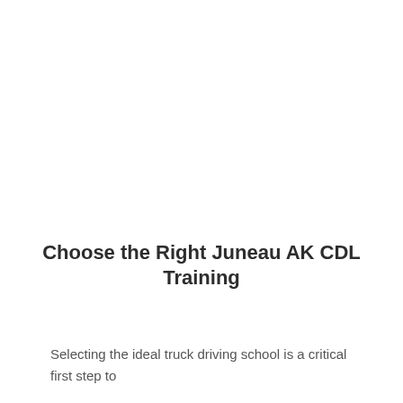Choose the Right Juneau AK CDL Training
Selecting the ideal truck driving school is a critical first step to